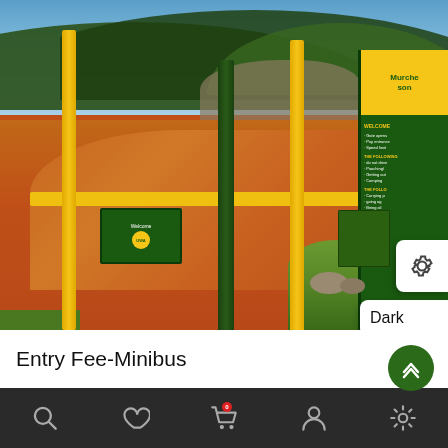[Figure (photo): Entrance gate of Murchison Falls National Park or similar African national park, showing tall yellow and green poles with a horizontal yellow bar gate across a red dirt road. Green signboards visible including a welcome sign with UWA (Uganda Wildlife Authority) branding. Red laterite soil road curves through the entrance. Blue sky with trees in background. A settings gear icon button and a 'Dark' mode button are overlaid on the right side of the image.]
Entry Fee-Minibus
Navigation bar with search, heart/favorites, shopping cart (with red badge), profile, and settings icons